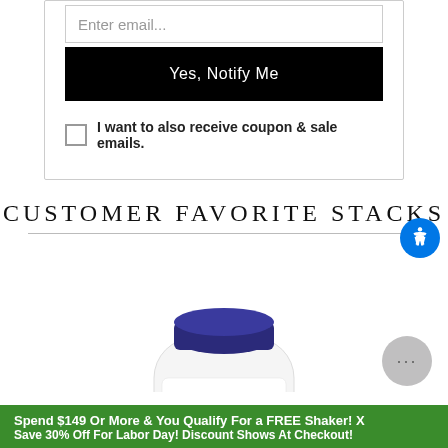Enter email...
Yes, Notify Me
I want to also receive coupon & sale emails.
CUSTOMER FAVORITE STACKS
[Figure (photo): White supplement bottle with dark blue cap and 'now' branding label, partially visible]
Spend $149 Or More & You Qualify For a FREE Shaker! X
Save 30% Off For Labor Day! Discount Shows At Checkout!